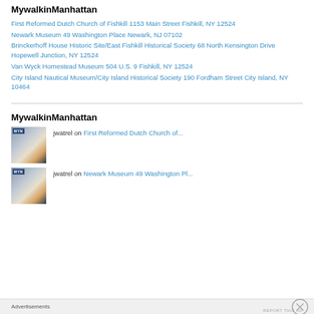MywalkinManhattan
First Reformed Dutch Church of Fishkill 1153 Main Street Fishkill, NY 12524
Newark Museum 49 Washington Place Newark, NJ 07102
Brinckerhoff House Historic Site/East Fishkill Historical Society 68 North Kensington Drive Hopewell Junction, NY 12524
Van Wyck Homestead Museum 504 U.S. 9 Fishkill, NY 12524
City Island Nautical Museum/City Island Historical Society 190 Fordham Street City Island, NY 10464
MywalkinManhattan
jwatrel on First Reformed Dutch Church of...
jwatrel on Newark Museum 49 Washington Pl...
Advertisements